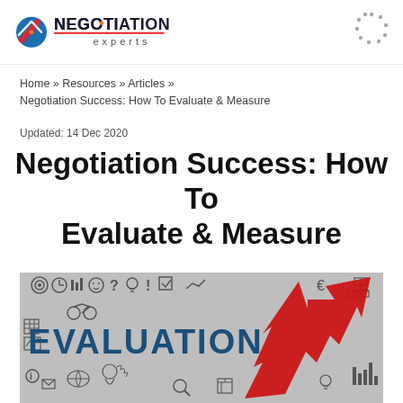Negotiation Experts logo header
Home » Resources » Articles » Negotiation Success: How To Evaluate & Measure
Updated: 14 Dec 2020
Negotiation Success: How To Evaluate & Measure
[Figure (illustration): Illustration showing the word EVALUATION in bold blue letters with a red upward arrow and various business icons and doodles on a grey background]